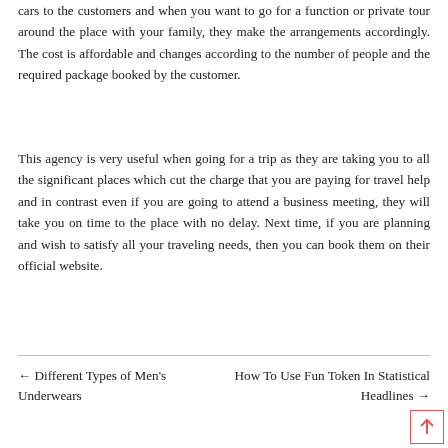cars to the customers and when you want to go for a function or private tour around the place with your family, they make the arrangements accordingly. The cost is affordable and changes according to the number of people and the required package booked by the customer.
This agency is very useful when going for a trip as they are taking you to all the significant places which cut the charge that you are paying for travel help and in contrast even if you are going to attend a business meeting, they will take you on time to the place with no delay. Next time, if you are planning and wish to satisfy all your traveling needs, then you can book them on their official website.
← Different Types of Men's Underwears    How To Use Fun Token In Statistical Headlines →